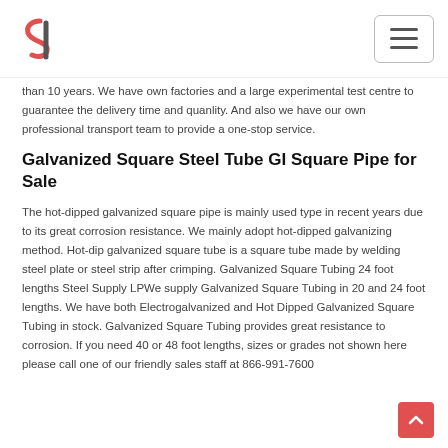Logo and navigation menu
than 10 years. We have own factories and a large experimental test centre to guarantee the delivery time and quanlity. And also we have our own professional transport team to provide a one-stop service.
Galvanized Square Steel Tube GI Square Pipe for Sale
The hot-dipped galvanized square pipe is mainly used type in recent years due to its great corrosion resistance. We mainly adopt hot-dipped galvanizing method. Hot-dip galvanized square tube is a square tube made by welding steel plate or steel strip after crimping. Galvanized Square Tubing 24 foot lengths Steel Supply LPWe supply Galvanized Square Tubing in 20 and 24 foot lengths. We have both Electrogalvanized and Hot Dipped Galvanized Square Tubing in stock. Galvanized Square Tubing provides great resistance to corrosion. If you need 40 or 48 foot lengths, sizes or grades not shown here please call one of our friendly sales staff at 866-991-7600